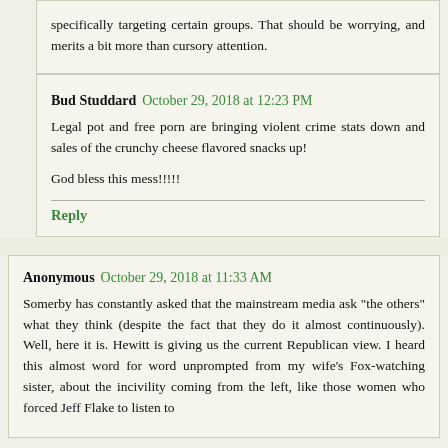specifically targeting certain groups. That should be worrying, and merits a bit more than cursory attention.
Bud Studdard  October 29, 2018 at 12:23 PM
Legal pot and free porn are bringing violent crime stats down and sales of the crunchy cheese flavored snacks up!
God bless this mess!!!!!
Reply
Anonymous  October 29, 2018 at 11:33 AM
Somerby has constantly asked that the mainstream media ask "the others" what they think (despite the fact that they do it almost continuously). Well, here it is. Hewitt is giving us the current Republican view. I heard this almost word for word unprompted from my wife's Fox-watching sister, about the incivility coming from the left, like those women who forced Jeff Flake to listen to